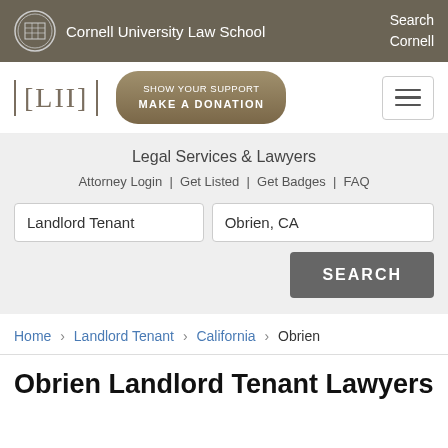Cornell University Law School | Search Cornell
[Figure (logo): LII Legal Information Institute logo with donate button and hamburger menu]
Legal Services & Lawyers
Attorney Login | Get Listed | Get Badges | FAQ
Search form with fields: Landlord Tenant, Obrien, CA and SEARCH button
Home › Landlord Tenant › California › Obrien
Obrien Landlord Tenant Lawyers